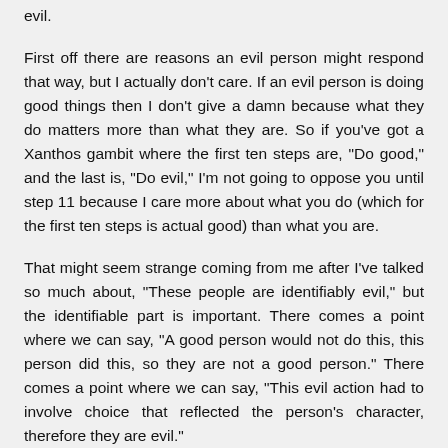evil.
First off there are reasons an evil person might respond that way, but I actually don't care. If an evil person is doing good things then I don't give a damn because what they do matters more than what they are. So if you've got a Xanthos gambit where the first ten steps are, "Do good," and the last is, "Do evil," I'm not going to oppose you until step 11 because I care more about what you do (which for the first ten steps is actual good) than what you are.
That might seem strange coming from me after I've talked so much about, "These people are identifiably evil," but the identifiable part is important. There comes a point where we can say, "A good person would not do this, this person did this, so they are not a good person." There comes a point where we can say, "This evil action had to involve choice that reflected the person's character, therefore they are evil."